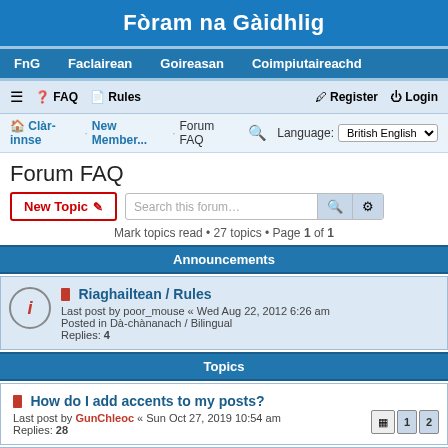Fòram na Gàidhlig
FnG
Faclairean
Goireasan
Coimpiutaireachd
≡  FAQ  Rules    Register  Login
Clàr-innse · New Member... · Forum FAQ   Language: British English
Forum FAQ
New Topic   Search this forum…
Mark topics read • 27 topics • Page 1 of 1
Announcements
Riaghailtean / Rules
Last post by poor_mouse « Wed Aug 22, 2012 6:26 am
Posted in Dà-chànanach / Bilingual
Replies: 4
Topics
How do I add accents to my posts?
Last post by GunChleoc « Sun Oct 27, 2019 10:54 am
Replies: 28
BBC Alba thall thairis / abroad